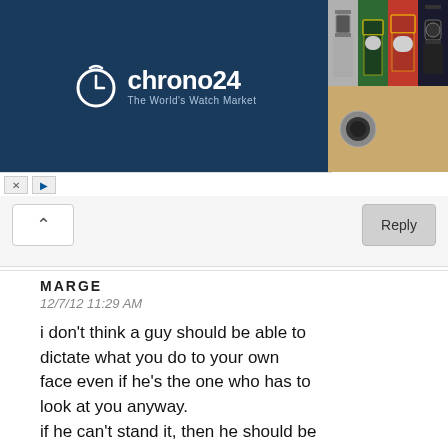[Figure (screenshot): Chrono24 advertisement banner showing watch marketplace logo on dark blue background with watch photos on the right side, and ad control buttons (X and play) below the logo area]
Reply
MARGE
12/7/12 11:29 AM
i don't think a guy should be able to dictate what you do to your own face even if he's the one who has to look at you anyway.
if he can't stand it, then he should be a man and confront his girl about it. then start the dialogue from there.
kung ayaw wag nya also, check out